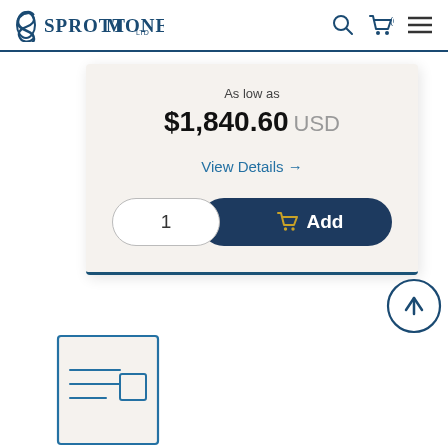Sprott Money
As low as
$1,840.60 USD
View Details →
1  Add
[Figure (illustration): Scroll-to-top circular arrow button icon]
[Figure (illustration): Document/card icon outline at bottom of page]